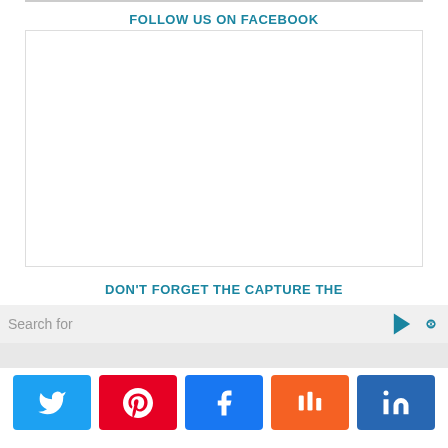FOLLOW US ON FACEBOOK
[Figure (other): Empty Facebook embed widget box with border]
DON'T FORGET THE CAPTURE THE
Search for
[Figure (infographic): Social share buttons row: Twitter, Pinterest, Facebook, Mix, LinkedIn]